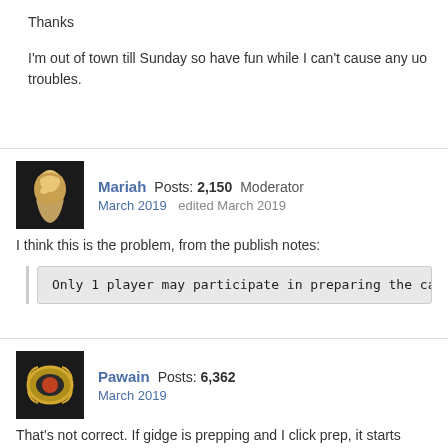Thanks
I'm out of town till Sunday so have fun while I can't cause any uo troubles.
Mariah  Posts: 2,150  Moderator
March 2019  edited March 2019
I think this is the problem, from the publish notes:
Only 1 player may participate in preparing the cannon for
Pawain  Posts: 6,362
March 2019
That's not correct. If gidge is prepping and I click prep, it starts over.